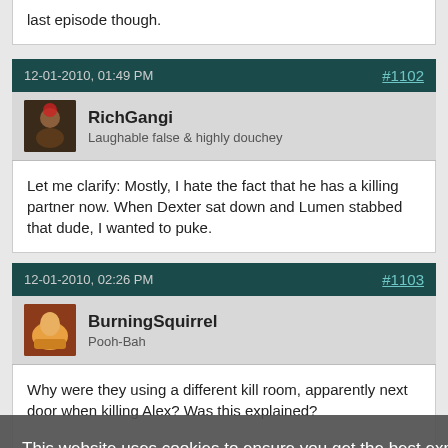last episode though.
12-01-2010, 01:49 PM
#1102
RichGangi
Laughable false & highly douchey
Let me clarify: Mostly, I hate the fact that he has a killing partner now. When Dexter sat down and Lumen stabbed that dude, I wanted to puke.
12-01-2010, 02:26 PM
#1103
BurningSquirrel
Pooh-Bah
Why were they using a different kill room, apparently next door when killing Alex? Was this explained?
This website uses cookies to ensure you get the best experience and relevant advertisements while visiting. Learn more
Got it!